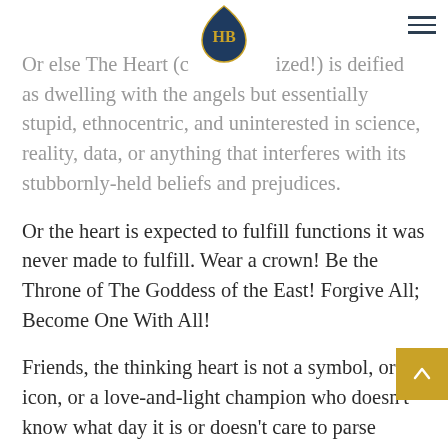HB logo and navigation
Or else The Heart (capitalized!) is deified as dwelling with the angels but essentially stupid, ethnocentric, and uninterested in science, reality, data, or anything that interferes with its stubbornly-held beliefs and prejudices.
Or the heart is expected to fulfill functions it was never made to fulfill. Wear a crown! Be the Throne of The Goddess of the East! Forgive All; Become One With All!
Friends, the thinking heart is not a symbol, or an icon, or a love-and-light champion who doesn't know what day it is or doesn't care to parse who's making and enforcing the rules or where the money goes.